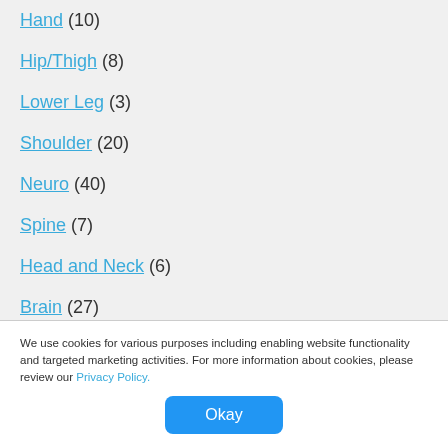Hand (10)
Hip/Thigh (8)
Lower Leg (3)
Shoulder (20)
Neuro (40)
Spine (7)
Head and Neck (6)
Brain (27)
Body (16)
We use cookies for various purposes including enabling website functionality and targeted marketing activities. For more information about cookies, please review our Privacy Policy.
Okay